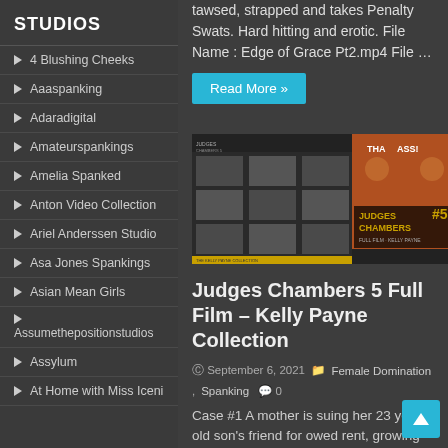STUDIOS
4 Blushing Cheeks
Aaaspanking
Adaradigital
Amateurspankings
Amelia Spanked
Anton Video Collection
Ariel Anderssen Studio
Asa Jones Spankings
Asian Mean Girls
Assumethepositionstudios
Assylum
At Home with Miss Iceni
tawsed, strapped and takes Penalty Swats. Hard hitting and erotic. File Name : Edge of Grace Pt2.mp4 File …
Read More »
[Figure (photo): DVD cover for Judges Chambers 5 Full Film – Kelly Payne Collection]
Judges Chambers 5 Full Film – Kelly Payne Collection
September 6, 2021  Female Domination, Spanking  0
Case #1 A mother is suing her 23 year old son's friend for owed rent, growing marijuana in her master bedroom and